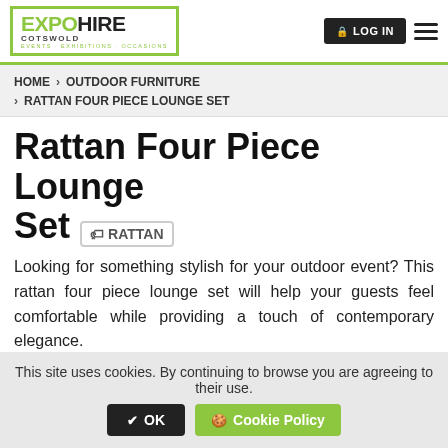EXPO HIRE COTSWOLD — EVENTS · EXHIBITIONS · OCCASIONS | LOG IN
HOME › OUTDOOR FURNITURE › RATTAN FOUR PIECE LOUNGE SET
Rattan Four Piece Lounge Set  RATTAN
Looking for something stylish for your outdoor event? This rattan four piece lounge set will help your guests feel comfortable while providing a touch of contemporary elegance.
This site uses cookies. By continuing to browse you are agreeing to their use.  OK  Cookie Policy